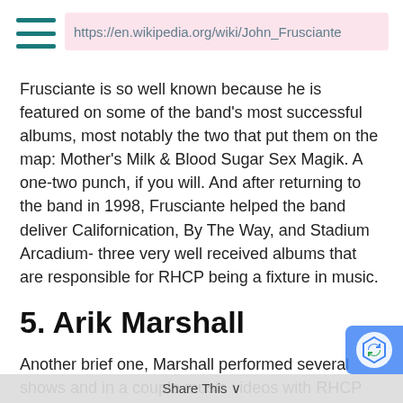https://en.wikipedia.org/wiki/John_Frusciante
Frusciante is so well known because he is featured on some of the band's most successful albums, most notably the two that put them on the map: Mother's Milk & Blood Sugar Sex Magik. A one-two punch, if you will. And after returning to the band in 1998, Frusciante helped the band deliver Californication, By The Way, and Stadium Arcadium- three very well received albums that are responsible for RHCP being a fixture in music.
5. Arik Marshall
Another brief one, Marshall performed several shows and in a couple music videos with RHCP after Frusciante left the band for the first time after being disheartened by the band's massive success. He was passed on to become a permanent